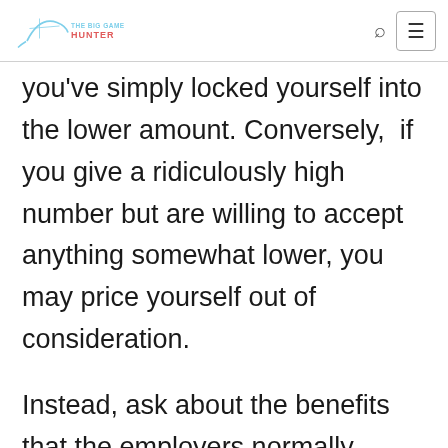The Big Game Hunter
you've simply locked yourself into the lower amount. Conversely,  if you give a ridiculously high number but are willing to accept anything somewhat lower, you may price yourself out of consideration.
Instead, ask about the benefits that the employers normally provide to employees in similar positions or with comparable degrees of experience. In